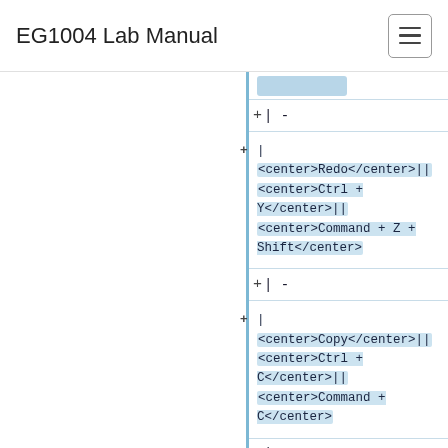EG1004 Lab Manual
+ | -
|
<center>Redo</center>||
<center>Ctrl + Y</center>||
<center>Command + Z + Shift</center>
+ | -
|
<center>Copy</center>||
<center>Ctrl + C</center>||
<center>Command + C</center>
+ | -
|